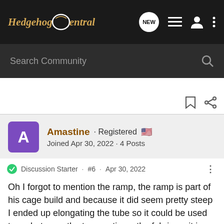HedgehogCentral
Search Community
Amastine · Registered 🇺🇸
Joined Apr 30, 2022 · 4 Posts
Discussion Starter · #6 · Apr 30, 2022
Oh I forgot to mention the ramp, the ramp is part of his cage build and because it did seem pretty steep I ended up elongating the tube so it could be used to go between the two sections. the fabric on it is pretty slick too she he was just overall having a hard time with it. I just got the bigger cage